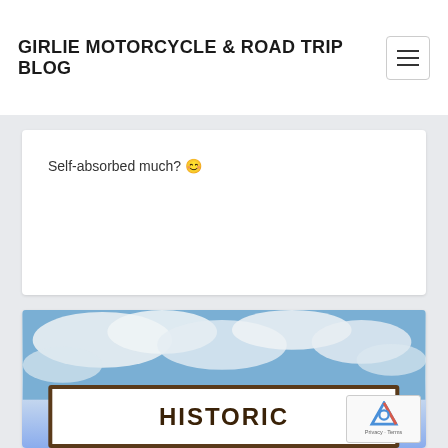GIRLIE MOTORCYCLE & ROAD TRIP BLOG
Self-absorbed much? 😀
[Figure (photo): A brown and white road sign reading 'HISTORIC' against a blue sky with white clouds]